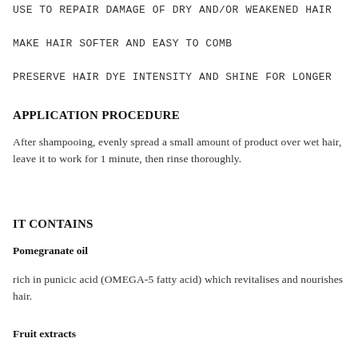USE TO REPAIR DAMAGE OF DRY AND/OR WEAKENED HAIR
MAKE HAIR SOFTER AND EASY TO COMB
PRESERVE HAIR DYE INTENSITY AND SHINE FOR LONGER
APPLICATION PROCEDURE
After shampooing, evenly spread a small amount of product over wet hair, leave it to work for 1 minute, then rinse thoroughly.
IT CONTAINS
Pomegranate oil
rich in punicic acid (OMEGA-5 fatty acid) which revitalises and nourishes hair.
Fruit extracts